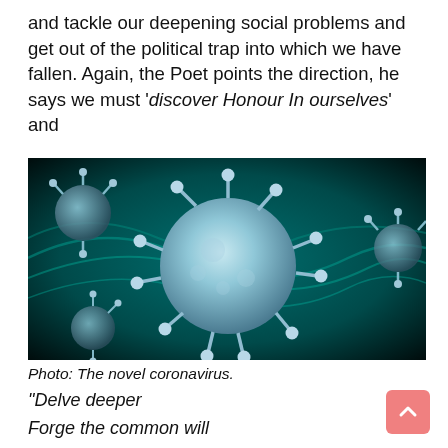and tackle our deepening social problems and get out of the political trap into which we have fallen. Again, the Poet points the direction, he says we must 'discover Honour In ourselves' and
[Figure (photo): Close-up microscope illustration of the novel coronavirus (SARS-CoV-2), a spherical blue-green virus particle with spike proteins, surrounded by smaller virus particles against a dark teal swirling background.]
Photo: The novel coronavirus.
“Delve deeper
Forge the common will